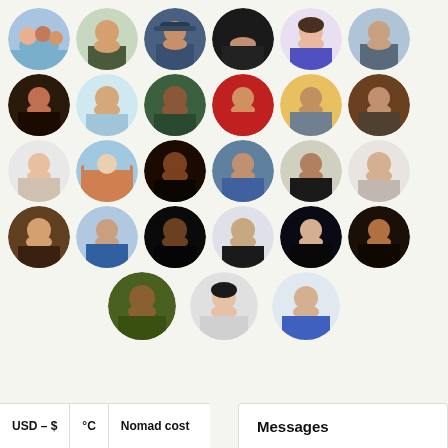[Figure (illustration): Grid of circular avatar profile photos arranged in 5 rows. Row 1: 6 avatars. Row 2: 6 avatars. Row 3: 6 avatars. Row 4: 6 avatars. Row 5: 3 avatars centered.]
USD – $
°C
Nomad cost
Messages